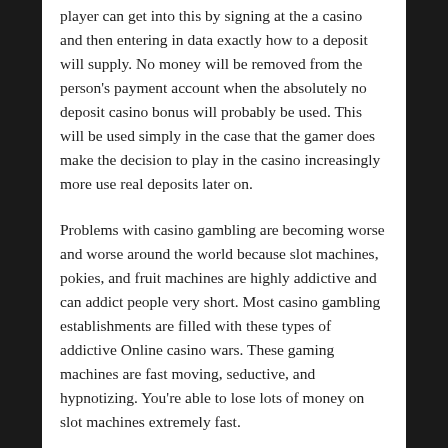player can get into this by signing at the a casino and then entering in data exactly how to a deposit will supply. No money will be removed from the person's payment account when the absolutely no deposit casino bonus will probably be used. This will be used simply in the case that the gamer does make the decision to play in the casino increasingly more use real deposits later on.
Problems with casino gambling are becoming worse and worse around the world because slot machines, pokies, and fruit machines are highly addictive and can addict people very short. Most casino gambling establishments are filled with these types of addictive Online casino wars. These gaming machines are fast moving, seductive, and hypnotizing. You're able to lose lots of money on slot machines extremely fast.